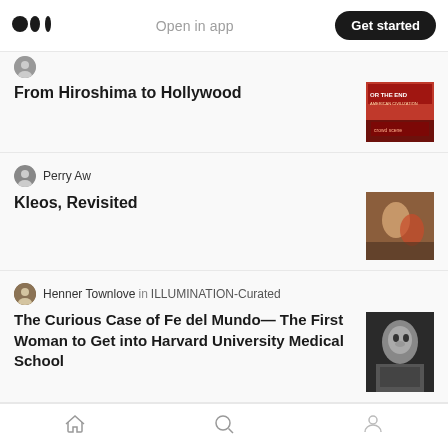Medium logo | Open in app | Get started
From Hiroshima to Hollywood
Perry Aw
Kleos, Revisited
Henner Townlove in ILLUMINATION-Curated
The Curious Case of Fe del Mundo— The First Woman to Get into Harvard University Medical School
Digpu News Network
# or 'Hail
Home | Search | Profile